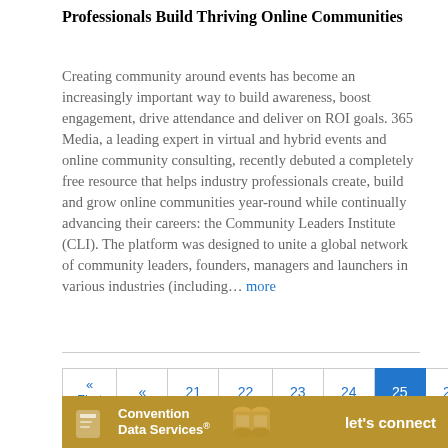Professionals Build Thriving Online Communities
Creating community around events has become an increasingly important way to build awareness, boost engagement, drive attendance and deliver on ROI goals. 365 Media, a leading expert in virtual and hybrid events and online community consulting, recently debuted a completely free resource that helps industry professionals create, build and grow online communities year-round while continually advancing their careers: the Community Leaders Institute (CLI). The platform was designed to unite a global network of community leaders, founders, managers and launchers in various industries (including… more
| « First | « | 21 | 22 | 23 | 24 | 25 | 26 | 27 |
| 28 | 29 | » | Last » |
[Figure (other): Advertisement banner for Convention Data Services with text 'let's connect' on a golden/tan background with can icons]